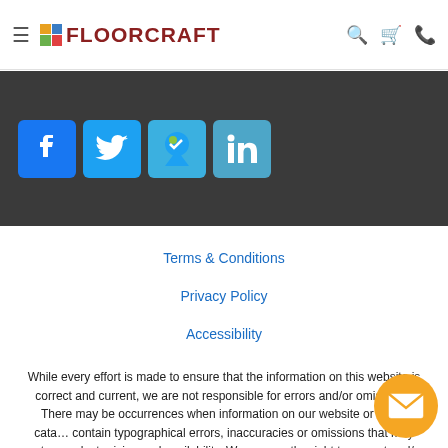FLOORCRAFT navigation header with logo, search, cart, and phone icons
[Figure (screenshot): Dark bar with four social media icons: Facebook (blue), Twitter (light blue), a check/location icon (light blue), and LinkedIn (light blue)]
Terms & Conditions
Privacy Policy
Accessibility
While every effort is made to ensure that the information on this website is correct and current, we are not responsible for errors and/or omissions. There may be occurrences when information on our website or in our catalog may contain typographical errors, inaccuracies or omissions that may pertain to product pricing and availability. We reserve the right to correct and/or update